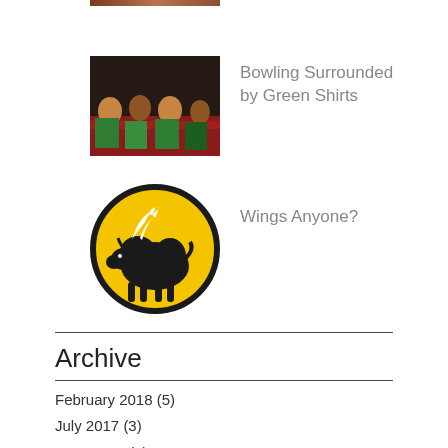[Figure (photo): Partial cropped photo at top of page]
[Figure (photo): Group of people at a bowling alley wearing green shirts]
Bowling Surrounded by Green Shirts
[Figure (logo): Buffalo Wild Wings logo — yellow circle with black bison silhouette and white wing]
Wings Anyone?
Archive
February 2018 (5)
July 2017 (3)
June 2017 (4)
May 2017 (5)
April 2017 (5)
March 2017 (5)